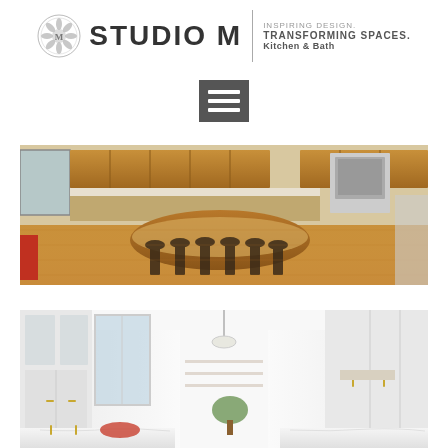STUDIO M — INSPIRING DESIGN. TRANSFORMING SPACES. Kitchen & Bath
[Figure (logo): Studio M Kitchen & Bath logo with circular emblem, brand name STUDIO M, and tagline INSPIRING DESIGN. TRANSFORMING SPACES. Kitchen & Bath]
[Figure (other): Hamburger menu icon — three horizontal white lines on a dark gray square background]
[Figure (photo): Interior photo of a kitchen with warm wood cabinetry, a large curved island with bar stools, hardwood floors, and stainless steel appliances]
[Figure (photo): Interior photo of a bright white modern kitchen with tall white cabinetry, marble countertops, pendant lighting, and gold hardware]